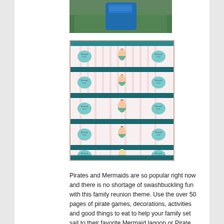[Figure (photo): Partial photo of a blue bottle/container on green grass background, only bottom portion visible]
[Figure (photo): Sheet of mermaid-themed water bottle labels or wrappers with chevron teal borders, showing 5 rows of labels. Each row has two teal heart logos reading 'Mermaid to be' and a different mermaid character illustration in the center. Background is pink striped.]
Pirates and Mermaids are so popular right now and there is no shortage of swashbuckling fun with this family reunion theme. Use the over 50 pages of pirate games, decorations, activities and good things to eat to help your family set sail to their favorite Mermaid lagoon or Pirate cove. Your families' eyes will be filled with visions of gold